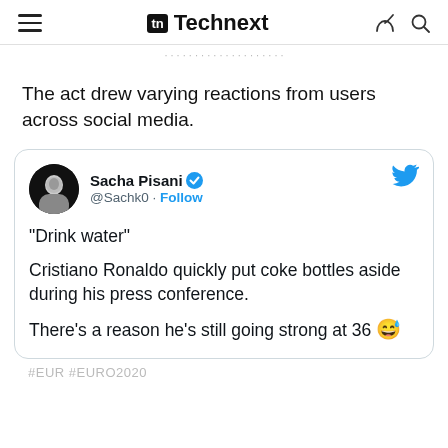Technext
The act drew varying reactions from users across social media.
[Figure (screenshot): Embedded tweet from Sacha Pisani (@Sachk0) with verified badge and Follow button. Tweet text: “Drink water” Cristiano Ronaldo quickly put coke bottles aside during his press conference. There’s a reason he’s still going strong at 36 😅]
#EUR #EURO2020 (cut off at bottom)